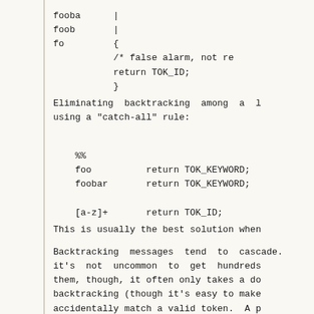fooba      |
foob       |
fo         {
           /* false alarm, not re
           return TOK_ID;
           }
Eliminating backtracking among a l
using a "catch-all" rule:
%%
foo          return TOK_KEYWORD;
foobar       return TOK_KEYWORD;

[a-z]+       return TOK_ID;
This is usually the best solution when
Backtracking messages tend to cascade.
it's not uncommon to get hundreds
them, though, it often only takes a do
backtracking (though it's easy to make
accidentally match a valid token.  A p
be to automatically add rules to elimi
Variable trailing context (where both
not have a fixed length) entails almos